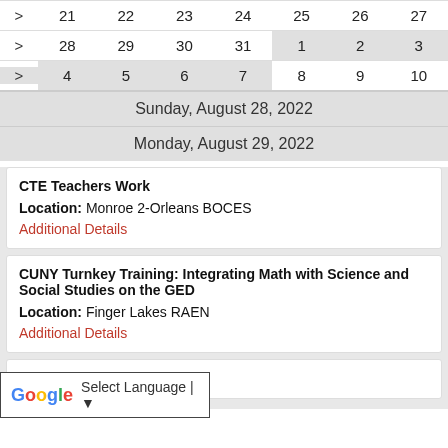| > | 21 | 22 | 23 | 24 | 25 | 26 | 27 |
| --- | --- | --- | --- | --- | --- | --- | --- |
| > | 28 | 29 | 30 | 31 | 1 | 2 | 3 |
| > | 4 | 5 | 6 | 7 | 8 | 9 | 10 |
Sunday, August 28, 2022
Monday, August 29, 2022
CTE Teachers Work
Location: Monroe 2-Orleans BOCES
Additional Details
CUNY Turnkey Training: Integrating Math with Science and Social Studies on the GED
Location: Finger Lakes RAEN
Additional Details
ining: Integrating RLA with